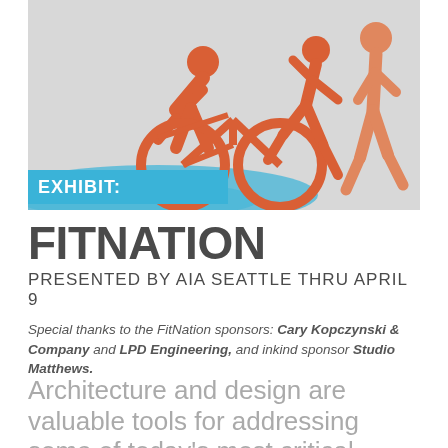[Figure (illustration): Gray background illustration showing orange icons of a cyclist on a bicycle, a runner, and a walker in silhouette style on a light gray/blue gradient background.]
EXHIBIT:
FITNATION
PRESENTED BY AIA SEATTLE THRU APRIL 9
Special thanks to the FitNation sponsors: Cary Kopczynski & Company and LPD Engineering, and inkind sponsor Studio Matthews.
Architecture and design are valuable tools for addressing some of today's most critical public health challenges, including